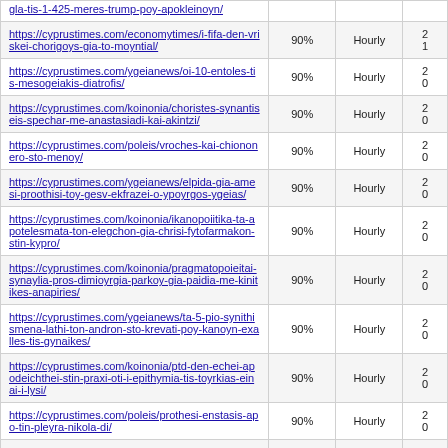| URL | Change Frequency | Priority | Last Modified |
| --- | --- | --- | --- |
| https://cyprustimes.com/...trump-poy-apokleinoyn/ | 90% | Hourly | 20...1... |
| https://cyprustimes.com/economytimes/i-fifa-den-vriskei-chorigoys-gia-to-moyntial/ | 90% | Hourly | 20...1... |
| https://cyprustimes.com/ygeianews/oi-10-entoles-tis-mesogeiakis-diatrofis/ | 90% | Hourly | 20...0... |
| https://cyprustimes.com/koinonia/choristes-synantiseis-spechar-me-anastasiadi-kai-akintzi/ | 90% | Hourly | 20...0... |
| https://cyprustimes.com/poleis/vroches-kai-chiononero-sto-menoy/ | 90% | Hourly | 20...0... |
| https://cyprustimes.com/ygeianews/elpida-gia-amesi-proothisi-toy-gesv-ekfrazei-o-ypoyrgos-ygeias/ | 90% | Hourly | 20...0... |
| https://cyprustimes.com/koinonia/ikanopoiitika-ta-apotelesmata-ton-elegchon-gia-chrisi-fytofarmakon-stin-kypro/ | 90% | Hourly | 20...0... |
| https://cyprustimes.com/koinonia/pragmatopoieitai-synaylia-pros-dimioyrgia-parkoy-gia-paidia-me-kinitikes-anapiries/ | 90% | Hourly | 20...0... |
| https://cyprustimes.com/ygeianews/ta-5-pio-synithismena-lathi-ton-andron-sto-krevati-poy-kanoyn-exalles-tis-gynaikes/ | 90% | Hourly | 20...0... |
| https://cyprustimes.com/koinonia/ptd-den-echei-apodeichthei-stin-praxi-oti-i-epithymia-tis-toyrkias-einai-i-lysi/ | 90% | Hourly | 20...0... |
| https://cyprustimes.com/poleis/prothesi-enstasis-apo-tin-pleyra-nikola-di/ | 90% | Hourly | 20...0... |
| https://cyprustimes.com/poleis/kleinei-logo-ergon-tmima-tis-siraggas-toy-aytokinitodromioy-lemesoy-pafoy/ | 90% | Hourly | 20...0... |